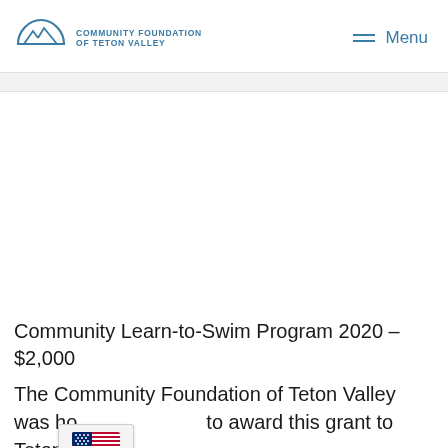[Figure (logo): Community Foundation of Teton Valley logo with mountain/arch icon and text]
Menu
Community Learn-to-Swim Program 2020 – $2,000
The Community Foundation of Teton Valley was honored to award this grant to Teton Valley